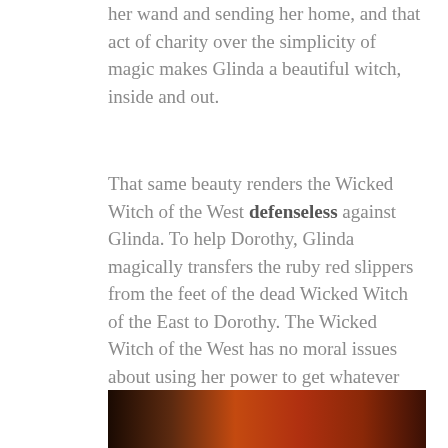her wand and sending her home, and that act of charity over the simplicity of magic makes Glinda a beautiful witch, inside and out.
That same beauty renders the Wicked Witch of the West defenseless against Glinda. To help Dorothy, Glinda magically transfers the ruby red slippers from the feet of the dead Wicked Witch of the East to Dorothy. The Wicked Witch of the West has no moral issues about using her power to get whatever she wants (the slippers), yet she's reduced to threatening Dorothy and her innocent dog, instead of using witchcraft to remove them and be on her way.
[Figure (photo): A cropped photo strip at the bottom of the page showing warm reddish-brown tones, likely from a scene related to The Wizard of Oz.]